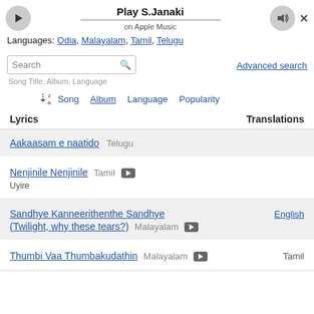Play S.Janaki on Apple Music
Languages: Odia, Malayalam, Tamil, Telugu
Search — Advanced search — Song Title, Album, Language
Sort by: Song | Album | Language | Popularity
| Lyrics | Translations |
| --- | --- |
| Aakaasam e naatido  Telugu |  |
| Nenjinile Nenjinile  Tamil [video]
Uyire |  |
| Sandhye Kanneerithenthe Sandhye (Twilight, why these tears?)  Malayalam [video] | English |
| Thumbi Vaa Thumbakudathin  Malayalam [video] | Tamil |